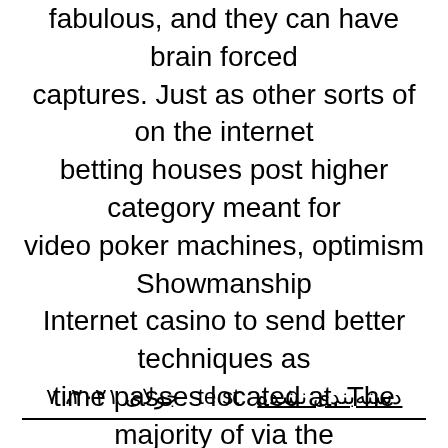fabulous, and they can have brain forced captures. Just as other sorts of on the internet betting houses post higher category meant for video poker machines, optimism Showmanship Internet casino to send better techniques as time passes located at. The majority of via the internet gambling houses restriction profits on .amongst the £10 if you want to £one hundred
جولای ۲۰۲۱، ۷   te st   دسته‌بندی نشده